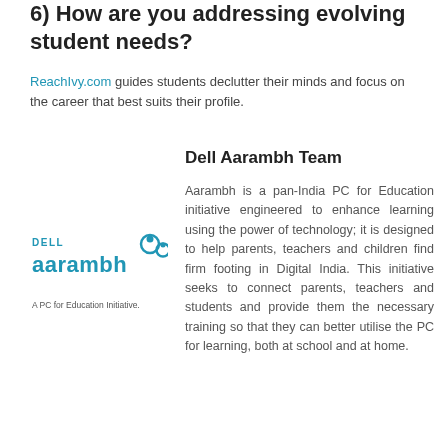6) How are you addressing evolving student needs?
ReachIvy.com guides students declutter their minds and focus on the career that best suits their profile.
Dell Aarambh Team
[Figure (logo): Dell Aarambh logo with text 'DELL aarambh' and stylized icon, tagline: A PC for Education Initiative.]
Aarambh is a pan-India PC for Education initiative engineered to enhance learning using the power of technology; it is designed to help parents, teachers and children find firm footing in Digital India. This initiative seeks to connect parents, teachers and students and provide them the necessary training so that they can better utilise the PC for learning, both at school and at home.